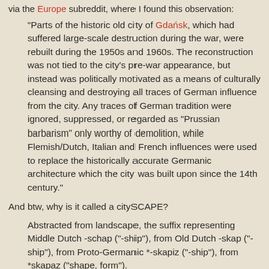via the Europe subreddit, where I found this observation:
"Parts of the historic old city of Gdańsk, which had suffered large-scale destruction during the war, were rebuilt during the 1950s and 1960s. The reconstruction was not tied to the city's pre-war appearance, but instead was politically motivated as a means of culturally cleansing and destroying all traces of German influence from the city. Any traces of German tradition were ignored, suppressed, or regarded as "Prussian barbarism" only worthy of demolition, while Flemish/Dutch, Italian and French influences were used to replace the historically accurate Germanic architecture which the city was built upon since the 14th century."
And btw, why is it called a citySCAPE?
Abstracted from landscape, the suffix representing Middle Dutch -schap ("-ship"), from Old Dutch -skap ("-ship"), from Proto-Germanic *-skapiz ("-ship"), from *skapaz ("shape, form").